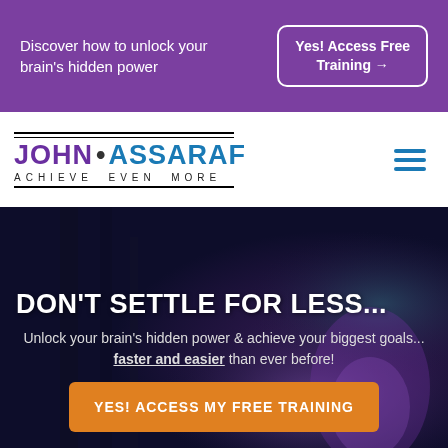Discover how to unlock your brain's hidden power
Yes! Access Free Training →
[Figure (logo): John Assaraf logo with tagline ACHIEVE EVEN MORE]
[Figure (photo): Dark background hero image with blurred lights, showing smartphone or device in purple tones]
DON'T SETTLE FOR LESS...
Unlock your brain's hidden power & achieve your biggest goals... faster and easier than ever before!
YES! ACCESS MY FREE TRAINING